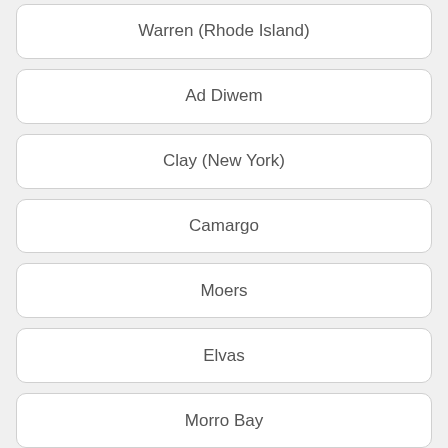Warren (Rhode Island)
Ad Diwem
Clay (New York)
Camargo
Moers
Elvas
Morro Bay